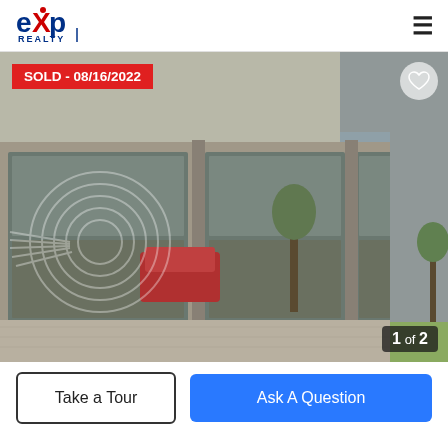[Figure (logo): eXp Realty logo in upper left]
[Figure (photo): Street-level exterior photo of a modern commercial building with large storefront windows, sidewalk, and parked cars reflected in glass. SOLD stamp dated 08/16/2022. Image counter shows 1 of 2.]
SOLD - 08/16/2022
1 of 2
Take a Tour
Ask A Question